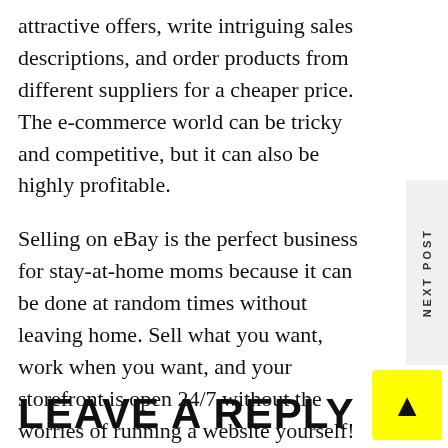attractive offers, write intriguing sales descriptions, and order products from different suppliers for a cheaper price. The e-commerce world can be tricky and competitive, but it can also be highly profitable.
Selling on eBay is the perfect business for stay-at-home moms because it can be done at random times without leaving home. Sell what you want, work when you want, and your storefront is open 24/7 without the worries of running a website yourself! What could be better?
LEAVE A REPLY